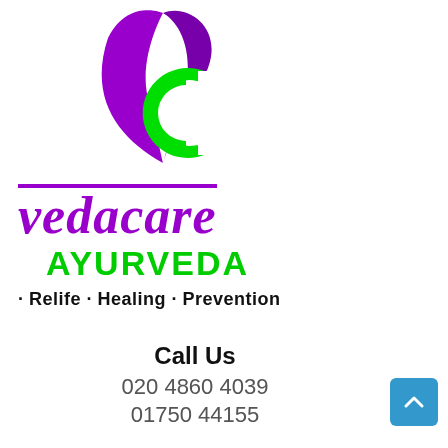[Figure (logo): Vedacare Ayurveda logo: purple leaf/feather shape with green crescent C symbol, brand name 'vedacare' in purple italic with top rule, 'AYURVEDA' in green bold, tagline '· Relife · Healing · Prevention' in black bold]
Call Us
020 4860 4039